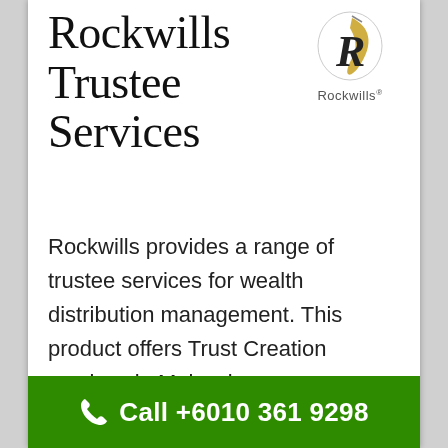Rockwills Trustee Services
[Figure (logo): Rockwills logo with stylized R in gold and black, with quill pen, and 'Rockwills' text below in grey]
Rockwills provides a range of trustee services for wealth distribution management. This product offers Trust Creation services in Malaysia.
Annuity Trust
Declaration Trust
Call +6010 361 9298